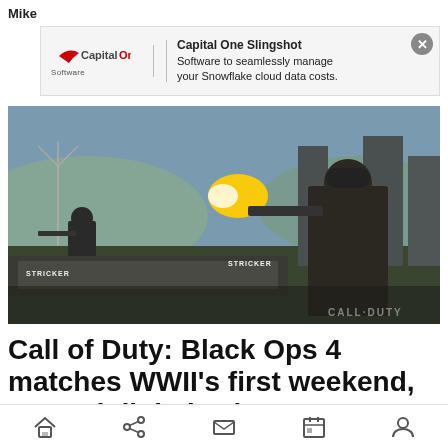Mike
[Figure (screenshot): Capital One Slingshot advertisement banner. Shows Capital One Software logo on the left, with text: 'Capital One Slingshot - Software to seamlessly manage your Snowflake cloud data costs.' with a close (X) button.]
[Figure (photo): Call of Duty: Black Ops 4 screenshot showing soldiers in combat at an industrial location. Text overlays show 'STRICKER' on the left and 'STRICKER' in the middle. 'CALL DUTY' watermark in bottom right.]
Call of Duty: Black Ops 4 matches WWII's first weekend, PC and digital sales